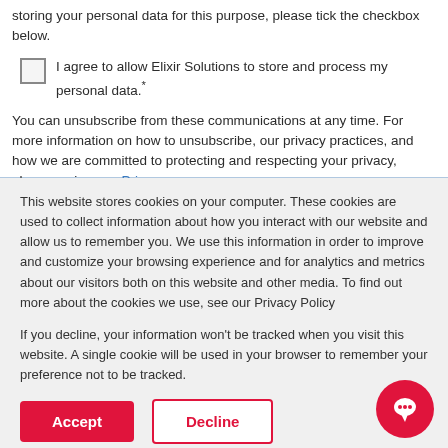storing your personal data for this purpose, please tick the checkbox below.
I agree to allow Elixir Solutions to store and process my personal data.*
You can unsubscribe from these communications at any time. For more information on how to unsubscribe, our privacy practices, and how we are committed to protecting and respecting your privacy, please review our Privacy
This website stores cookies on your computer. These cookies are used to collect information about how you interact with our website and allow us to remember you. We use this information in order to improve and customize your browsing experience and for analytics and metrics about our visitors both on this website and other media. To find out more about the cookies we use, see our Privacy Policy
If you decline, your information won't be tracked when you visit this website. A single cookie will be used in your browser to remember your preference not to be tracked.
Accept
Decline